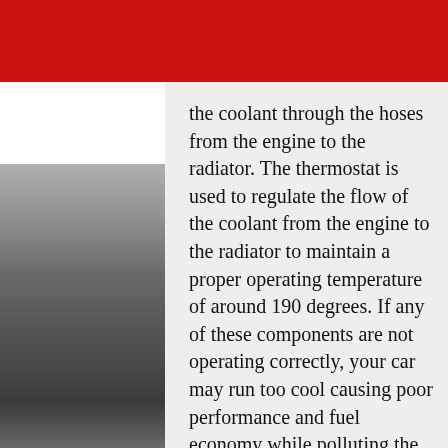the coolant through the hoses from the engine to the radiator. The thermostat is used to regulate the flow of the coolant from the engine to the radiator to maintain a proper operating temperature of around 190 degrees. If any of these components are not operating correctly, your car may run too cool causing poor performance and fuel economy while polluting the air around it. It may also cause the engine to run too hot and overheat causing possible severe engine damage. If you have concerns about the proper operation of your cooling system, have it inspected and serviced today at Car Care Advanced Auto.